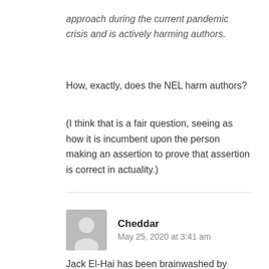approach during the current pandemic crisis and is actively harming authors.
How, exactly, does the NEL harm authors?
(I think that is a fair question, seeing as how it is incumbent upon the person making an assertion to prove that assertion is correct in actuality.)
Cheddar
May 25, 2020 at 3:41 am
Jack El-Hai has been brainwashed by copyright maximalists. These self-interested monopolists want to destroy the culture while claiming to protect it. The copyright law does not make libraries illegal; on the contrary, it explicitly legalizes the resale or lending of any copyrighted work after its first sale, without the